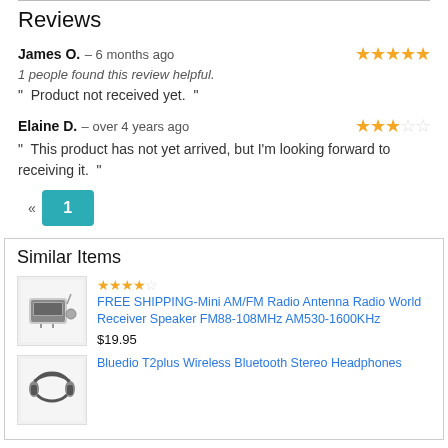Reviews
James O. – 6 months ago | 5 stars
1 people found this review helpful.
" Product not received yet. "
Elaine D. – over 4 years ago | 2.5 stars
" This product has not yet arrived, but I'm looking forward to receiving it. "
« 1
Similar Items
FREE SHIPPING-Mini AM/FM Radio Antenna Radio World Receiver Speaker FM88-108MHz AM530-1600KHz $19.95 ★★★★☆
Bluedio T2plus Wireless Bluetooth Stereo Headphones